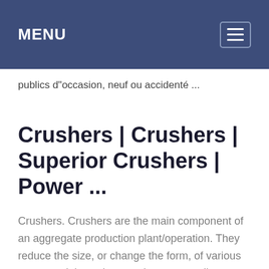MENU
publics d"occasion, neuf ou accidenté ...
Crushers | Crushers | Superior Crushers | Power ...
Crushers. Crushers are the main component of an aggregate production plant/operation. They reduce the size, or change the form, of various raw materials so they can be more easily differentiated by size and material type.